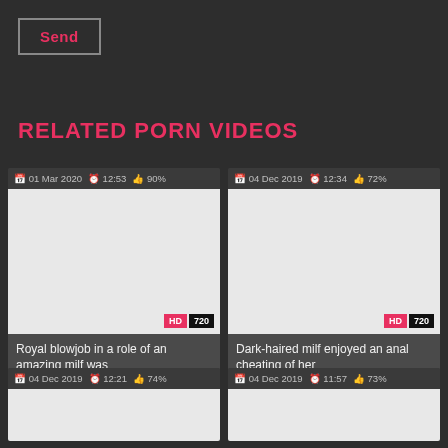Send
RELATED PORN VIDEOS
[Figure (screenshot): Video thumbnail card 1: 01 Mar 2020, 12:53, 90%, HD 720, title: Royal blowjob in a role of an amazing milf was]
[Figure (screenshot): Video thumbnail card 2: 04 Dec 2019, 12:34, 72%, HD 720, title: Dark-haired milf enjoyed an anal cheating of her]
[Figure (screenshot): Video thumbnail card 3: 04 Dec 2019, 12:21, 74%, partial view]
[Figure (screenshot): Video thumbnail card 4: 04 Dec 2019, 11:57, 73%, partial view]